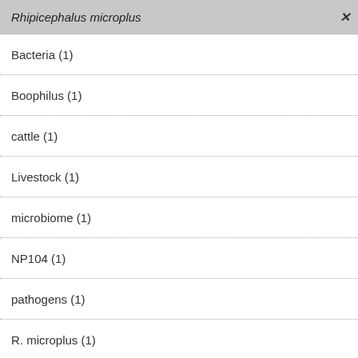Rhipicephalus microplus ×
Bacteria (1)
Boophilus (1)
cattle (1)
Livestock (1)
microbiome (1)
NP104 (1)
pathogens (1)
R. microplus (1)
sequence analysis (1)
ticks (1)
Filter by Ag Data Commons Keywords ^
Animals & Livestock ×